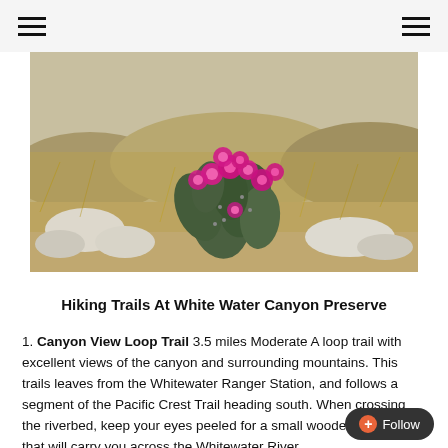Navigation menu (hamburger icons on left and right)
[Figure (photo): A blooming beavertail cactus with vivid pink/magenta flowers in a desert landscape with dry grasses, rocks, and shrubs in the background.]
Hiking Trails At White Water Canyon Preserve
1. Canyon View Loop Trail 3.5 miles Moderate A loop trail with excellent views of the canyon and surrounding mountains. This trails leaves from the Whitewater Ranger Station, and follows a segment of the Pacific Crest Trail heading south. When crossing the riverbed, keep your eyes peeled for a small wooden footbridge that will carry you across the Whitewater River.